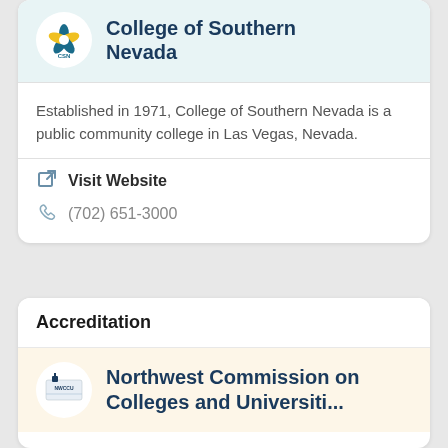[Figure (logo): CSN (College of Southern Nevada) logo in circular frame with teal header background]
College of Southern Nevada
Established in 1971, College of Southern Nevada is a public community college in Las Vegas, Nevada.
Visit Website
(702) 651-3000
Accreditation
[Figure (logo): NWCCU (Northwest Commission on Colleges and Universities) logo in circular frame with warm beige background]
Northwest Commission on Colleges and Universities